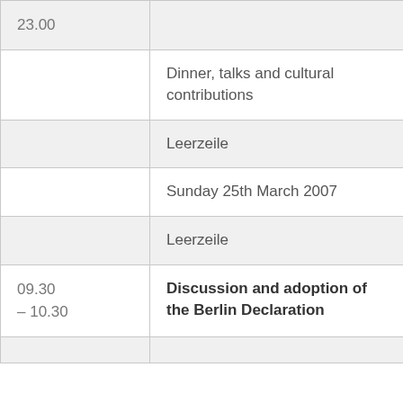| Time | Description |
| --- | --- |
| 23.00 |  |
|  | Dinner, talks and cultural contributions |
|  | Leerzeile |
|  | Sunday 25th March 2007 |
|  | Leerzeile |
| 09.30 – 10.30 | Discussion and adoption of the Berlin Declaration |
|  |  |